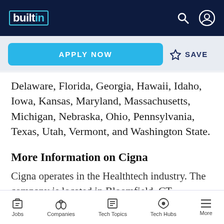builtin
APPLY NOW   ☆ SAVE
Delaware, Florida, Georgia, Hawaii, Idaho, Iowa, Kansas, Maryland, Massachusetts, Michigan, Nebraska, Ohio, Pennsylvania, Texas, Utah, Vermont, and Washington State.
More Information on Cigna
Cigna operates in the Healthtech industry. The company is located in Bloomfield, CT,
Jobs   Companies   Tech Topics   Tech Hubs   More